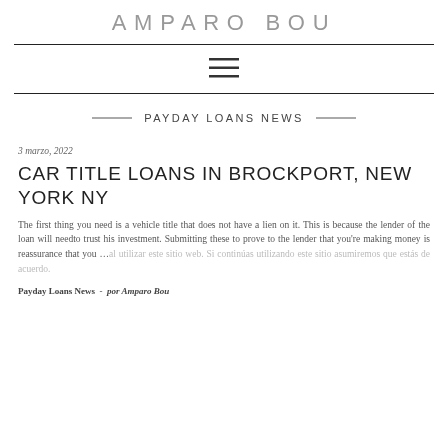AMPARO BOU
[Figure (other): Hamburger menu icon (three horizontal lines)]
PAYDAY LOANS NEWS
3 marzo, 2022
CAR TITLE LOANS IN BROCKPORT, NEW YORK NY
The first thing you need is a vehicle title that does not have a lien on it. This is because the lender of the loan will needto trust his investment. Submitting these to prove to the lender that you're making money is reassurance that you ...
Payday Loans News  -  por Amparo Bou